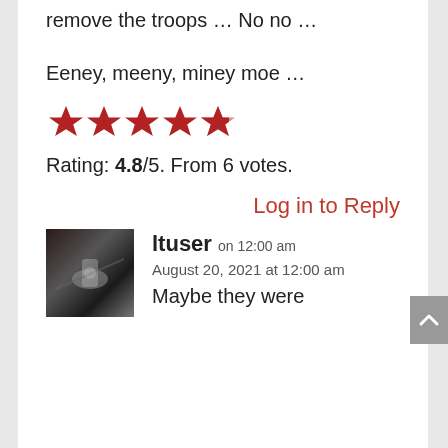remove the troops … No no …
Eeney, meeny, miney moe …
[Figure (other): Five red stars rating display (approximately 4.8 out of 5)]
Rating: 4.8/5. From 6 votes.
Log in to Reply
[Figure (photo): Avatar image of ltuser showing what appears to be an aircraft or spacecraft scene with dark reddish background]
ltuser on 12:00 am
August 20, 2021 at 12:00 am
Maybe they were